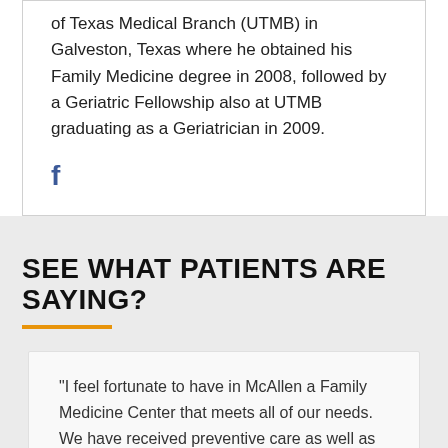of Texas Medical Branch (UTMB) in Galveston, Texas where he obtained his Family Medicine degree in 2008, followed by a Geriatric Fellowship also at UTMB graduating as a Geriatrician in 2009.
[Figure (logo): Facebook social media icon in blue]
SEE WHAT PATIENTS ARE SAYING?
"I feel fortunate to have in McAllen a Family Medicine Center that meets all of our needs. We have received preventive care as well as management of existing conditions for several